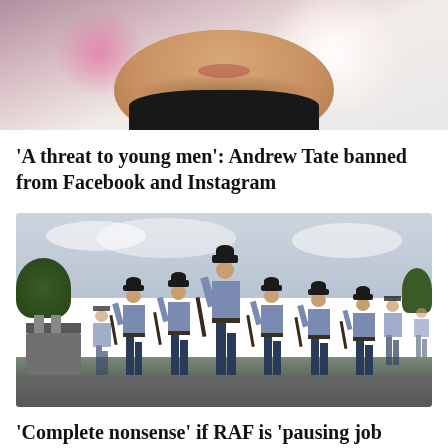[Figure (photo): Cropped photo showing lower face and chin of a man with stubble beard wearing a black collar/shirt, with pink and white stage lights visible in the background]
'A threat to young men': Andrew Tate banned from Facebook and Instagram
[Figure (photo): Photo of RAF (Royal Air Force) cadets in light blue shirts and dark trousers marching in formation, carrying rifles, with a cloudy sky and trees in the background]
'Complete nonsense' if RAF is 'pausing job offers